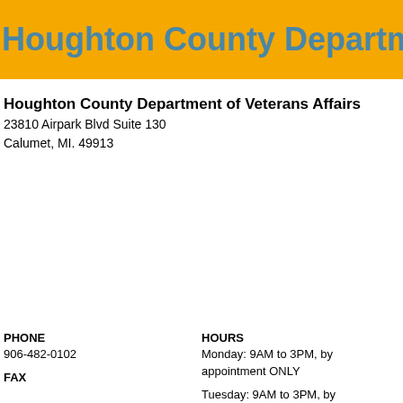Houghton County Department of Ve
Houghton County Department of Veterans Affairs
23810 Airpark Blvd Suite 130
Calumet, MI. 49913
PHONE
906-482-0102
FAX
HOURS
Monday: 9AM to 3PM, by appointment ONLY
Tuesday: 9AM to 3PM, by